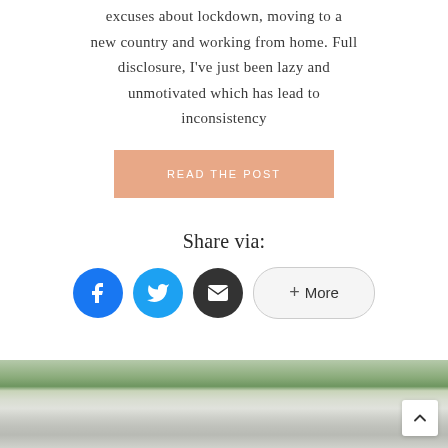excuses about lockdown, moving to a new country and working from home. Full disclosure, I've just been lazy and unmotivated which has lead to inconsistency
READ THE POST
Share via:
[Figure (other): Social share buttons: Facebook (blue circle), Twitter (light blue circle), Email (dark circle), and a More button with + icon]
[Figure (photo): Outdoor photo showing white fabric/blanket on grass, partial view]